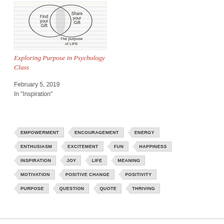[Figure (illustration): Hand-drawn Venn diagram on lined paper showing two overlapping circles. Left circle labeled 'Find your Gift', right circle labeled 'Share your Gift', with 'The purpose of LIFE' written below the diagram.]
Exploring Purpose in Psychology Class
February 5, 2019
In "Inspiration"
EMPOWERMENT
ENCOURAGEMENT
ENERGY
ENTHUSIASM
EXCITEMENT
FUN
HAPPINESS
INSPIRATION
JOY
LIFE
MEANING
MOTIVATION
POSITIVE CHANGE
POSITIVITY
PURPOSE
QUESTION
QUOTE
THRIVING